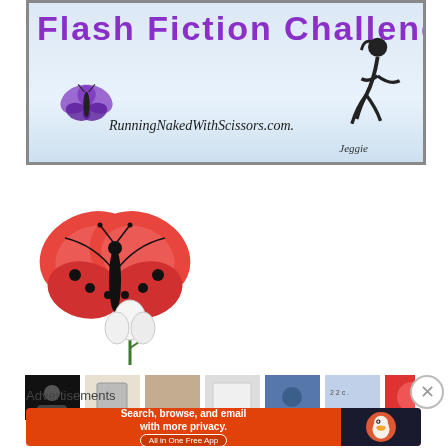[Figure (illustration): Banner image for RunningNakedWithScissors.com blog - light blue gradient background with large purple text header, purple butterfly illustration, silhouette of running woman, cursive site name and signature]
[Figure (illustration): Red and black butterfly perched on a white flower with green stem - decorative illustration]
[Figure (screenshot): Row of small thumbnail images at the bottom of a webpage]
Advertisements
[Figure (illustration): DuckDuckGo advertisement banner: orange background with text 'Search, browse, and email with more privacy. All in One Free App' and DuckDuckGo duck logo on dark background]